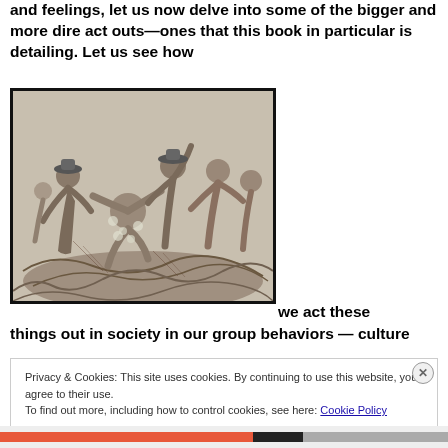and feelings, let us now delve into some of the bigger and more dire act outs—ones that this book in particular is detailing. Let us see how
[Figure (illustration): Black and white historical illustration showing a group of people in a violent scene, appearing to be a period engraving or woodcut.]
we act these things out in society in our group behaviors — culture
Privacy & Cookies: This site uses cookies. By continuing to use this website, you agree to their use.
To find out more, including how to control cookies, see here: Cookie Policy
Close and accept